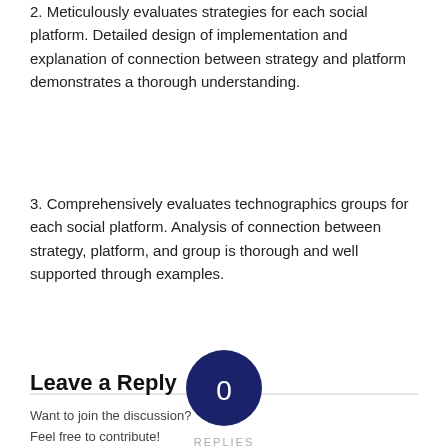2. Meticulously evaluates strategies for each social platform. Detailed design of implementation and explanation of connection between strategy and platform demonstrates a thorough understanding.
3. Comprehensively evaluates technographics groups for each social platform. Analysis of connection between strategy, platform, and group is thorough and well supported through examples.
[Figure (infographic): A dark navy blue circle containing the number 0 in white, with the label REPLIES below it, flanked by horizontal lines on either side.]
Leave a Reply
Want to join the discussion?
Feel free to contribute!